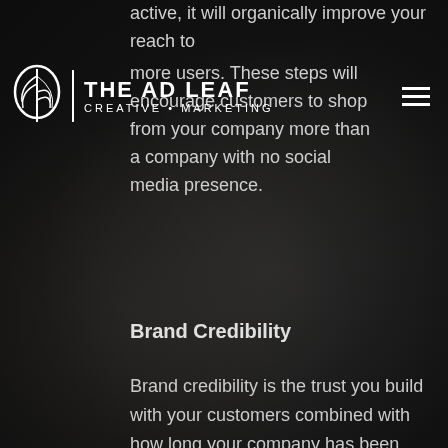THE AD LEAF — CREATIVE • MARKETING
active, it will organically improve your reach to more users. These steps will encourage customers to shop from your company more than a company with no social media presence.
Brand Credibility
Brand credibility is the trust you build with your customers combined with how long your company has been around. Benefits of positive brand credibility include having customers that will continue to choose your brand and advocate your business to others. A few easy